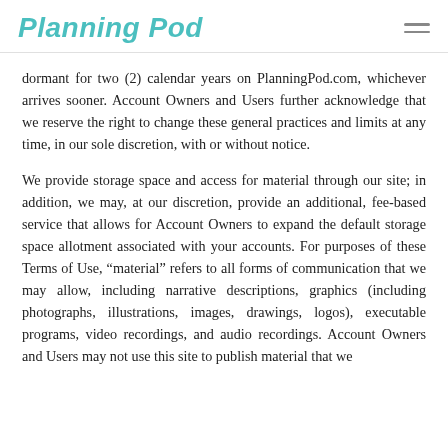Planning Pod
dormant for two (2) calendar years on PlanningPod.com, whichever arrives sooner. Account Owners and Users further acknowledge that we reserve the right to change these general practices and limits at any time, in our sole discretion, with or without notice.
We provide storage space and access for material through our site; in addition, we may, at our discretion, provide an additional, fee-based service that allows for Account Owners to expand the default storage space allotment associated with your accounts. For purposes of these Terms of Use, “material” refers to all forms of communication that we may allow, including narrative descriptions, graphics (including photographs, illustrations, images, drawings, logos), executable programs, video recordings, and audio recordings. Account Owners and Users may not use this site to publish material that we